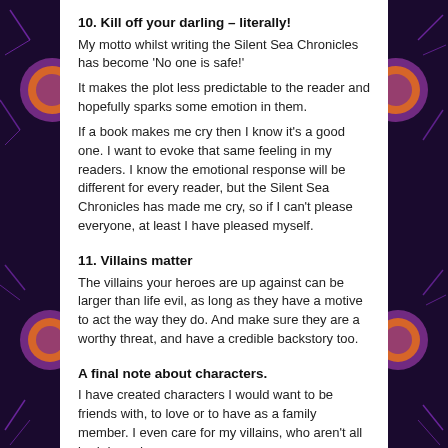10. Kill off your darling – literally!
My motto whilst writing the Silent Sea Chronicles has become 'No one is safe!'
It makes the plot less predictable to the reader and hopefully sparks some emotion in them.
If a book makes me cry then I know it's a good one. I want to evoke that same feeling in my readers. I know the emotional response will be different for every reader, but the Silent Sea Chronicles has made me cry, so if I can't please everyone, at least I have pleased myself.
11. Villains matter
The villains your heroes are up against can be larger than life evil, as long as they have a motive to act the way they do. And make sure they are a worthy threat, and have a credible backstory too.
A final note about characters.
I have created characters I would want to be friends with, to love or to have as a family member. I even care for my villains, who aren't all bad deep down.